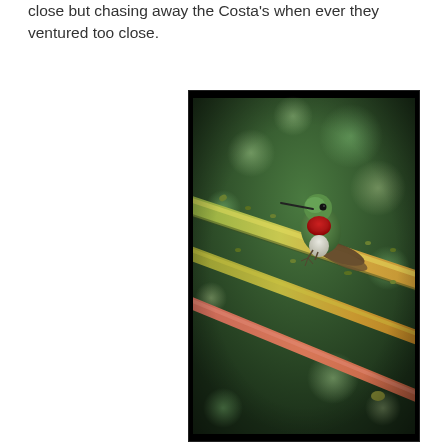close but chasing away the Costa's when ever they ventured too close.
[Figure (photo): A hummingbird with a red throat (ruby-throated or broad-tailed hummingbird) perched on diagonal yellow-green thorny branches, with a blurred green bokeh background.]